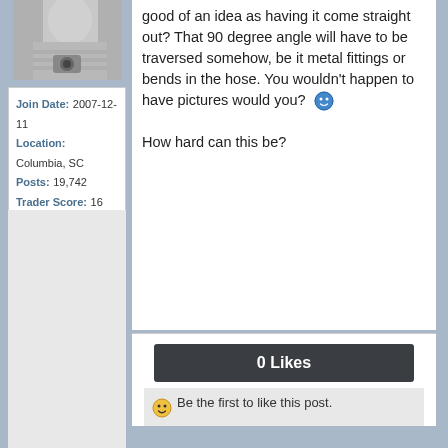[Figure (photo): Black and white photo of a person, partially visible, upper portion of sidebar]
Join Date: 2007-12-11
Location: Columbia, SC
Posts: 19,742
Trader Score: 16 (100%)
good of an idea as having it come straight out? That 90 degree angle will have to be traversed somehow, be it metal fittings or bends in the hose. You wouldn't happen to have pictures would you? 😊

How hard can this be?
0 Likes
😊 Be the first to like this post.
BenFenner's 1994 Black SE-R (given away)
BenFenner's 2000 Black M-Coupe
BenFenner's 2004